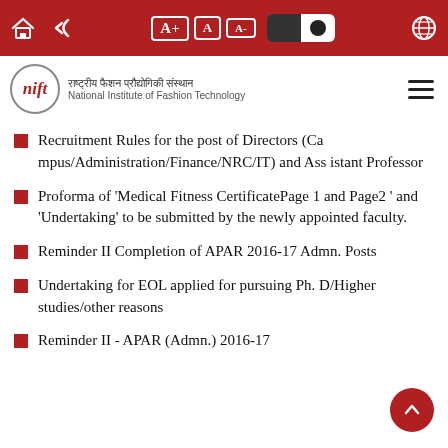National Institute of Fashion Technology
Recruitment Rules for the post of Directors (Campus/Administration/Finance/NRC/IT) and Assistant Professor
Proforma of 'Medical Fitness CertificatePage 1 and Page2 ' and 'Undertaking' to be submitted by the newly appointed faculty.
Reminder II Completion of APAR 2016-17 Admn. Posts
Undertaking for EOL applied for pursuing Ph.D/Higher studies/other reasons
Reminder II - APAR (Admn.) 2016-17